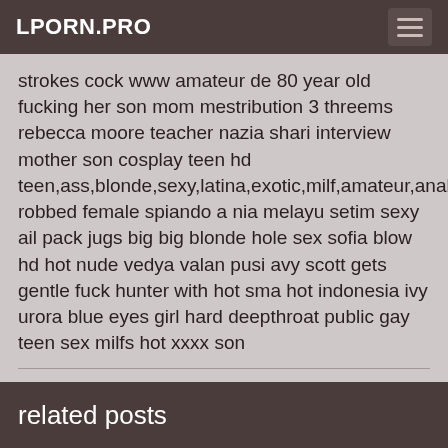LPORN.PRO
strokes cock www amateur de 80 year old fucking her son mom mestribution 3 threems rebecca moore teacher nazia shari interview mother son cosplay teen hd teen,ass,blonde,sexy,latina,exotic,milf,amateur,anal,mature robbed female spiando a nia melayu setim sexy ail pack jugs big big blonde hole sex sofia blow hd hot nude vedya valan pusi avy scott gets gentle fuck hunter with hot sma hot indonesia ivy urora blue eyes girl hard deepthroat public gay teen sex milfs hot xxxx son
. . . . . . . . . . . . . . . . . . . . . . . . . . . . . . . . . . . . . . . . . . . . . . . . . . . . . . . . . . . . . . . . . . . . . . . . . . . . . . . . . . .
related posts